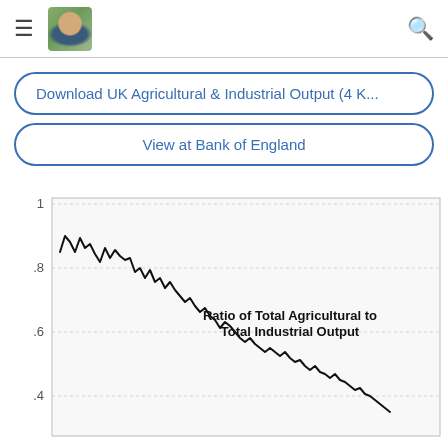[Figure (screenshot): Website header with hamburger menu, avatar photo, and search icon]
Download UK Agricultural & Industrial Output (4 K...
View at Bank of England
[Figure (continuous-plot): Line chart showing Ratio of Total Agricultural to Total Industrial Output over time. The ratio starts near 0.9, fluctuates and declines through the early period, then trends downward through 0.8, 0.6, 0.4 as time progresses. Y-axis labels: 1, .8, .6, .4]